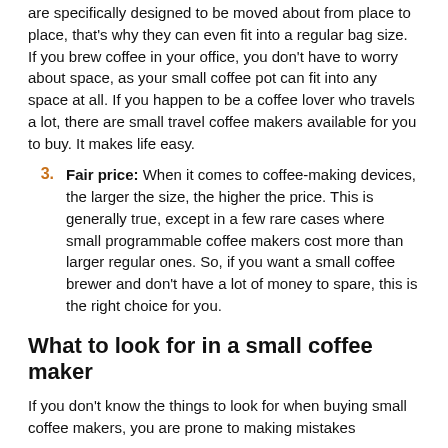are specifically designed to be moved about from place to place, that's why they can even fit into a regular bag size. If you brew coffee in your office, you don't have to worry about space, as your small coffee pot can fit into any space at all. If you happen to be a coffee lover who travels a lot, there are small travel coffee makers available for you to buy. It makes life easy.
3. Fair price: When it comes to coffee-making devices, the larger the size, the higher the price. This is generally true, except in a few rare cases where small programmable coffee makers cost more than larger regular ones. So, if you want a small coffee brewer and don't have a lot of money to spare, this is the right choice for you.
What to look for in a small coffee maker
If you don't know the things to look for when buying small coffee makers, you are prone to making mistakes